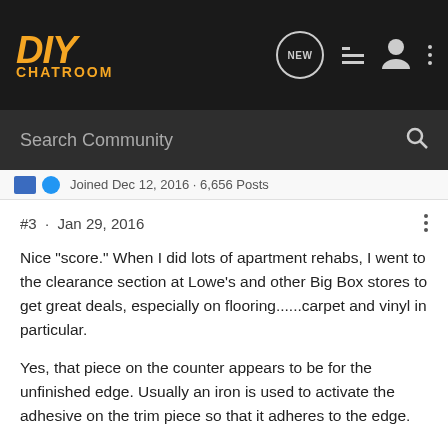[Figure (screenshot): DIY Chatroom website header with orange logo and dark navigation bar with icons for NEW, list, user, and more options]
[Figure (screenshot): Dark search bar with 'Search Community' placeholder text and search icon]
Joined Dec 12, 2016 · 6,656 Posts
#3 · Jan 29, 2016
Nice "score." When I did lots of apartment rehabs, I went to the clearance section at Lowe's and other Big Box stores to get great deals, especially on flooring......carpet and vinyl in particular.
Yes, that piece on the counter appears to be for the unfinished edge. Usually an iron is used to activate the adhesive on the trim piece so that it adheres to the edge.
Not sure what all those pieces are that are attached to the back, but, they are definitely in the way of installing against a wall.